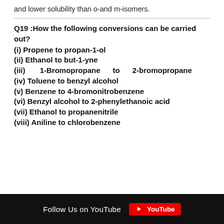and lower solubility than o-and m-isomers.
Q19 :How the following conversions can be carried out?
(i) Propene to propan-1-ol
(ii) Ethanol to but-1-yne
(iii) 1-Bromopropane to 2-bromopropane
(iv) Toluene to benzyl alcohol
(v) Benzene to 4-bromonitrobenzene
(vi) Benzyl alcohol to 2-phenylethanoic acid
(vii) Ethanol to propanenitrile
(viii) Aniline to chlorobenzene
Follow Us on YouTube